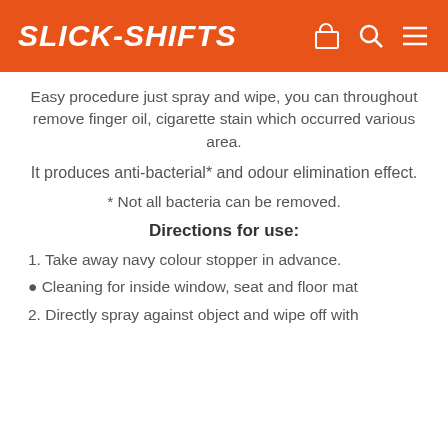SLICK-SHIFTS
Easy procedure just spray and wipe, you can throughout remove finger oil, cigarette stain which occurred various area.
It produces anti-bacterial* and odour elimination effect.
* Not all bacteria can be removed.
Directions for use:
1. Take away navy colour stopper in advance.
● Cleaning for inside window, seat and floor mat
2. Directly spray against object and wipe off with